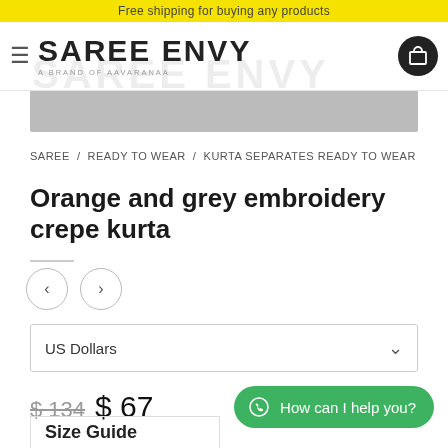Free shipping for buying any products
[Figure (logo): Saree Envy brand logo with hamburger menu icon and cart icon. Text reads SAREE ENVY / A BRAND OF AAVARANAA]
[Figure (photo): Gray product image placeholder banner]
SAREE / READY TO WEAR / KURTA SEPARATES READY TO WEAR
Orange and grey embroidery crepe kurta
US Dollars
$134  $67
How can I help you?
Size Guide